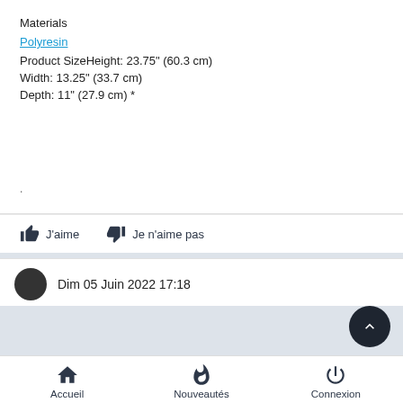Materials
Polyresin
Product SizeHeight: 23.75" (60.3 cm)
Width: 13.25" (33.7 cm)
Depth: 11" (27.9 cm) *
.
J'aime   Je n'aime pas
Dim 05 Juin 2022 17:18
Accueil   Nouveautés   Connexion